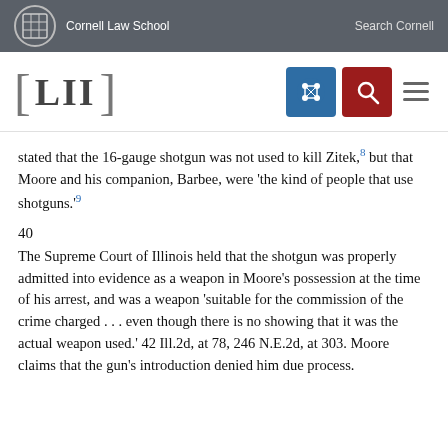Cornell Law School | Search Cornell
[Figure (logo): LII Legal Information Institute logo with navigation icons (grid and search buttons, hamburger menu)]
stated that the 16-gauge shotgun was not used to kill Zitek,8 but that Moore and his companion, Barbee, were 'the kind of people that use shotguns.'9
40
The Supreme Court of Illinois held that the shotgun was properly admitted into evidence as a weapon in Moore's possession at the time of his arrest, and was a weapon 'suitable for the commission of the crime charged . . . even though there is no showing that it was the actual weapon used.' 42 Ill.2d, at 78, 246 N.E.2d, at 303. Moore claims that the gun's introduction denied him due process.